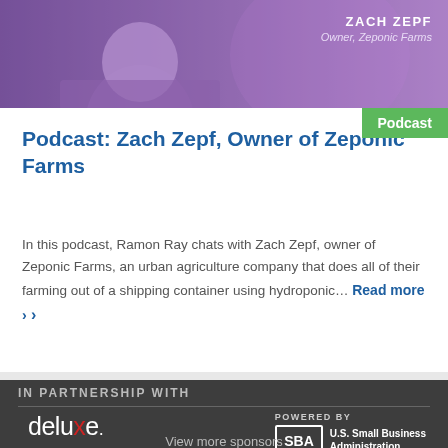[Figure (photo): Photo of Zach Zepf, Owner of Zeponic Farms, shown against a purple background]
ZACH ZEPF
Owner, Zeponic Farms
Podcast
Podcast: Zach Zepf, Owner of Zeponic Farms
In this podcast, Ramon Ray chats with Zach Zepf, owner of Zeponic Farms, an urban agriculture company that does all of their farming out of a shipping container using hydroponic... Read more ›
IN PARTNERSHIP WITH
[Figure (logo): Deluxe logo in white with red X]
POWERED BY
[Figure (logo): SBA U.S. Small Business Administration logo]
View more sponsors